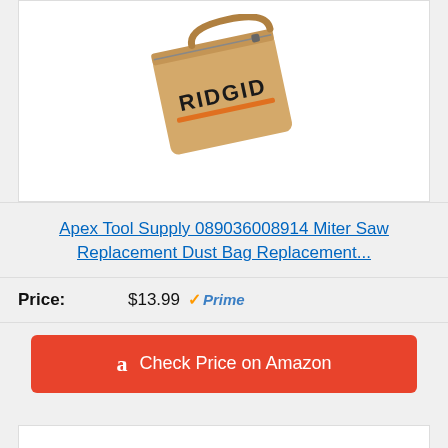[Figure (photo): RIDGID branded canvas tool/dust bag in tan/beige color with orange RIDGID logo text]
Apex Tool Supply 089036008914 Miter Saw Replacement Dust Bag Replacement...
Price: $13.99 Prime
Check Price on Amazon
Bestseller No. 7
[Figure (photo): Partial view of product at bottom of page, partially visible]